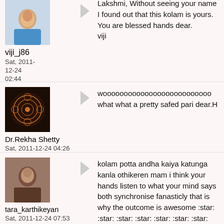[Figure (photo): Avatar photo of viji_j86 showing a woman in a blue saree]
viji_j86
Sat, 2011-12-24
02:44
Lakshmi, Without seeing your name I found out that this kolam is yours. You are blessed hands dear.
viji
[Figure (photo): Avatar image of Dr.Rekha Shetty with decorative circular pattern on dark background]
Dr.Rekha Shetty
Sat, 2011-12-24 04:26
woooooooooooooooooooooooooo what what a pretty safed pari dear.H
[Figure (photo): Avatar photo of tara_karthikeyan showing a woman]
tara_karthikeyan
Sat, 2011-12-24 07:53
kolam potta andha kaiya katunga kanla othikeren mam i think your hands listen to what your mind says both synchronise fanasticly that is why the outcome is awesome :star: :star: :star: :star: :star: :star: :star: :star: :star: :star: